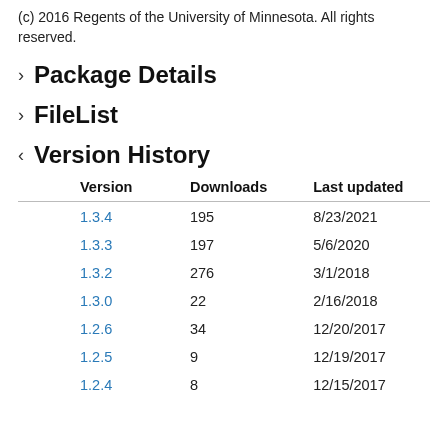(c) 2016 Regents of the University of Minnesota. All rights reserved.
Package Details
FileList
Version History
| Version | Downloads | Last updated |
| --- | --- | --- |
| 1.3.4 | 195 | 8/23/2021 |
| 1.3.3 | 197 | 5/6/2020 |
| 1.3.2 | 276 | 3/1/2018 |
| 1.3.0 | 22 | 2/16/2018 |
| 1.2.6 | 34 | 12/20/2017 |
| 1.2.5 | 9 | 12/19/2017 |
| 1.2.4 | 8 | 12/15/2017 |